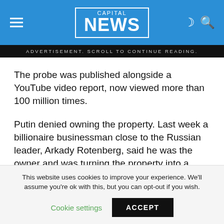CAPITAL NEWS
ADVERTISEMENT. SCROLL TO CONTINUE READING.
The probe was published alongside a YouTube video report, now viewed more than 100 million times.
Putin denied owning the property. Last week a billionaire businessman close to the Russian leader, Arkady Rotenberg, said he was the owner and was turning the property into a hotel.
This website uses cookies to improve your experience. We'll assume you're ok with this, but you can opt-out if you wish.